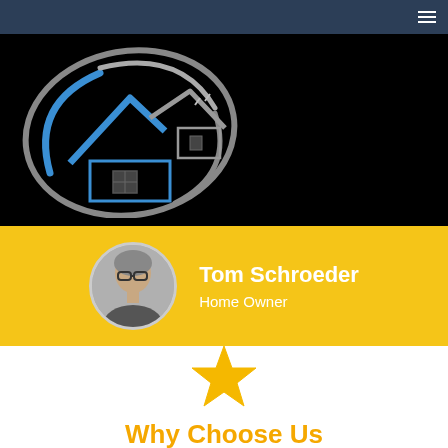Navigation bar with hamburger menu
[Figure (logo): House/home inspection company logo on black background: circular swoosh design with a blue and gray house roofline silhouette in the center]
Tom Schroeder
Home Owner
[Figure (illustration): Gold/yellow star icon]
Why Choose Us